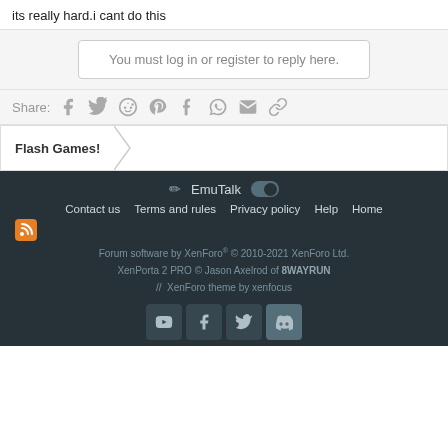its really hard.i cant do this
You must log in or register to reply here.
Share:
Flash Games!
EmuTalk
Contact us   Terms and rules   Privacy policy   Help   Home
Forum software by XenForo ® © 2010-2021 XenForo Ltd.
XenPorta 2 PRO © Jason Axelrod of 8WAYRUN
// XenForo theme by xenfocus